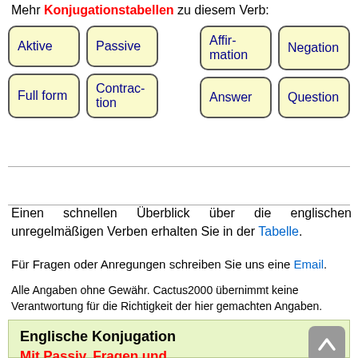Mehr Konjugationstabellen zu diesem Verb:
Aktive | Passive | Affirmation | Negation | Full form | Contraction | Answer | Question
Einen schnellen Überblick über die englischen unregelmäßigen Verben erhalten Sie in der Tabelle.
Für Fragen oder Anregungen schreiben Sie uns eine Email.
Alle Angaben ohne Gewähr. Cactus2000 übernimmt keine Verantwortung für die Richtigkeit der hier gemachten Angaben.
Englische Konjugation
Mit Passiv, Fragen und Verneinung